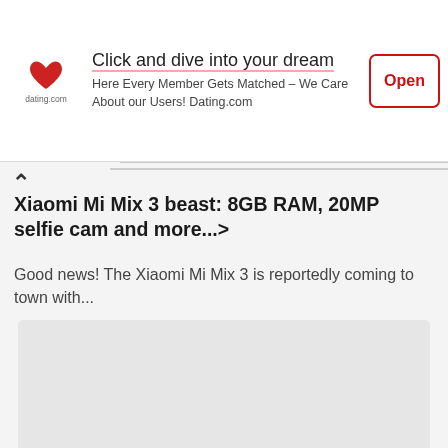[Figure (other): Dating.com advertisement banner with heart logo, tagline 'Click and dive into your dream', subtitle 'Here Every Member Gets Matched – We Care About our Users! Dating.com', and an Open button]
Xiaomi Mi Mix 3 beast: 8GB RAM, 20MP selfie cam and more...>
Good news! The Xiaomi Mi Mix 3 is reportedly coming to town with...
[Figure (photo): Gray image placeholder for Xiaomi Mi Mix 3 article]
HTC U12 Life official teaser shows launch date, Dual 16MP Cam and more>
The Taiwanese maker has posted the latest teaser of the